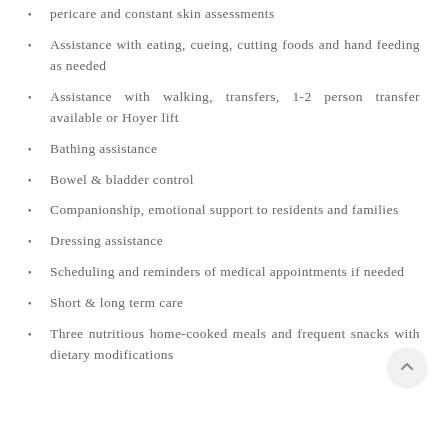pericare and constant skin assessments
Assistance with eating, cueing, cutting foods and hand feeding as needed
Assistance with walking, transfers, 1-2 person transfer available or Hoyer lift
Bathing assistance
Bowel & bladder control
Companionship, emotional support to residents and families
Dressing assistance
Scheduling and reminders of medical appointments if needed
Short & long term care
Three nutritious home-cooked meals and frequent snacks with dietary modifications